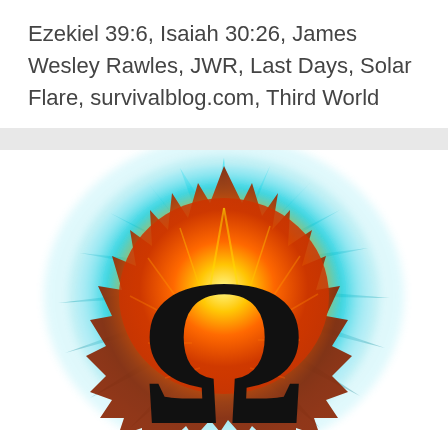Ezekiel 39:6, Isaiah 30:26, James Wesley Rawles, JWR, Last Days, Solar Flare, survivalblog.com, Third World
[Figure (illustration): A solar flare explosion image showing an orange and yellow burst with cyan/blue light rays emanating outward, overlaid with a large black Omega (Ω) symbol in the foreground.]